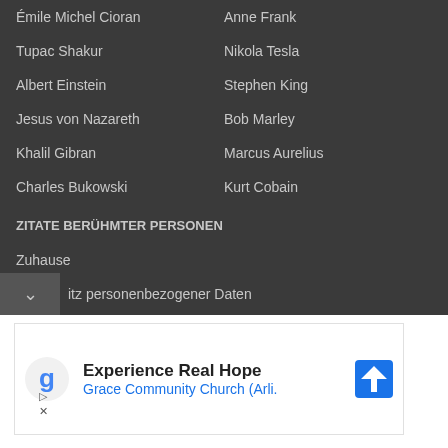Émile Michel Cioran
Anne Frank
Tupac Shakur
Nikola Tesla
Albert Einstein
Stephen King
Jesus von Nazareth
Bob Marley
Khalil Gibran
Marcus Aurelius
Charles Bukowski
Kurt Cobain
ZITATE BERÜHMTER PERSONEN
Zuhause
Über uns
Kontakt
Privacy settings
itz personenbezogener Daten
[Figure (infographic): Advertisement banner for Grace Community Church (Arlington) with Google 'g' logo, navigation icon, play and close controls. Text: 'Experience Real Hope' and 'Grace Community Church (Arli.']